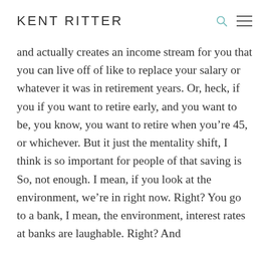KENT RITTER
and actually creates an income stream for you that you can live off of like to replace your salary or whatever it was in retirement years. Or, heck, if you if you want to retire early, and you want to be, you know, you want to retire when you’re 45, or whichever. But it just the mentality shift, I think is so important for people of that saving is So, not enough. I mean, if you look at the environment, we’re in right now. Right? You go to a bank, I mean, the environment, interest rates at banks are laughable. Right? And